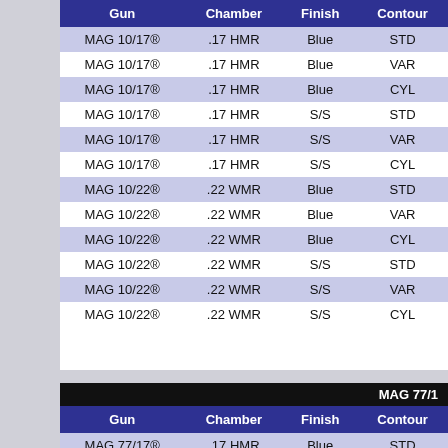| Gun | Chamber | Finish | Contour |
| --- | --- | --- | --- |
| MAG 10/17® | .17 HMR | Blue | STD |
| MAG 10/17® | .17 HMR | Blue | VAR |
| MAG 10/17® | .17 HMR | Blue | CYL |
| MAG 10/17® | .17 HMR | S/S | STD |
| MAG 10/17® | .17 HMR | S/S | VAR |
| MAG 10/17® | .17 HMR | S/S | CYL |
| MAG 10/22® | .22 WMR | Blue | STD |
| MAG 10/22® | .22 WMR | Blue | VAR |
| MAG 10/22® | .22 WMR | Blue | CYL |
| MAG 10/22® | .22 WMR | S/S | STD |
| MAG 10/22® | .22 WMR | S/S | VAR |
| MAG 10/22® | .22 WMR | S/S | CYL |
| Gun | Chamber | Finish | Contour |
| --- | --- | --- | --- |
| MAG 77/17® | .17 HMR | Blue | STD |
| MAG 77/17® | .17 HMR | Blue | VAR |
| MAG 77/17® | .17 HMR | Blue | CYL |
| MAG 77/17® | .17 HMR | S/S | STD |